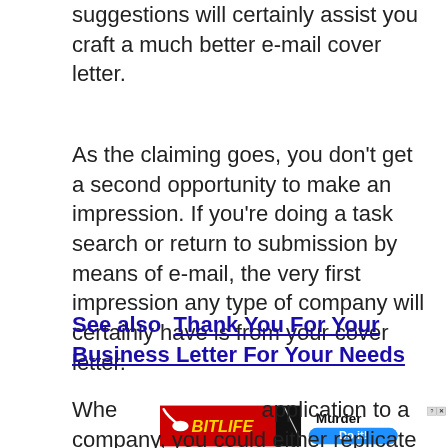suggestions will certainly assist you craft a much better e-mail cover letter.
As the claiming goes, you don't get a second opportunity to make an impression. If you're doing a task search or return to submission by means of e-mail, the very first impression any type of company will certainly have is from your cover letter.
See also  Thank You For Your Business Letter For Your Needs
[Figure (other): BitLife advertisement banner with red background, yellow BitLife logo, Murder text, and a blue Do it! button]
Whe... application to a company, you could either replicate and also paste your cover letter right